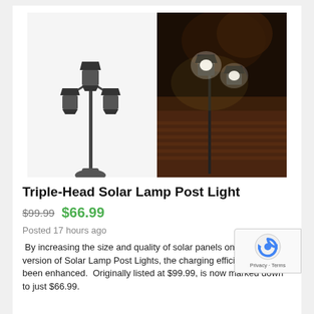[Figure (photo): Product listing image showing a triple-head solar lamp post light. Left side shows product against white background; right side shows outdoor night scene with the lamp illuminated on a deck/patio.]
Triple-Head Solar Lamp Post Light
$99.99 $66.99
Posted 17 hours ago
By increasing the size and quality of solar panels on the new version of Solar Lamp Post Lights, the charging efficiency has been enhanced.  Originally listed at $99.99, is now marked down to just $66.99.